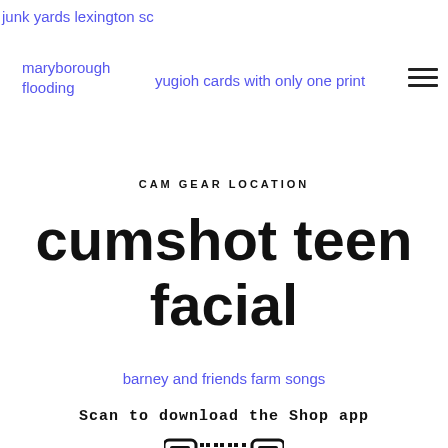junk yards lexington sc
maryborough flooding
yugioh cards with only one print
[Figure (other): Hamburger menu icon (three horizontal lines)]
CAM GEAR LOCATION
cumshot teen facial
barney and friends farm songs
Scan to download the Shop app
[Figure (other): Partial QR code for downloading the Shop app]